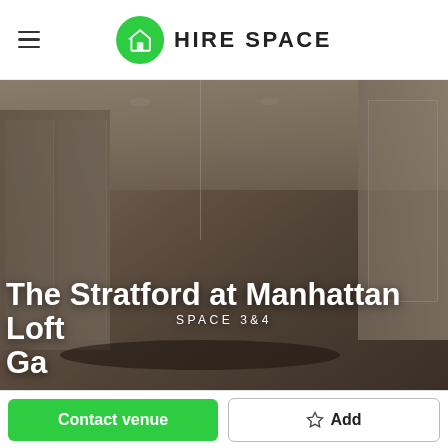[Figure (logo): Hire Space logo with green circle home icon and text HIRE SPACE]
[Figure (photo): Interior photo of a modern dining/meeting room with high ceilings, pendant lights, and round tables. Overlay text reads SPACE 3&4 and The Stratford at Manhattan Loft Gardens.]
SPACE 3&4
The Stratford at Manhattan Loft Gardens
Contact venue
Add